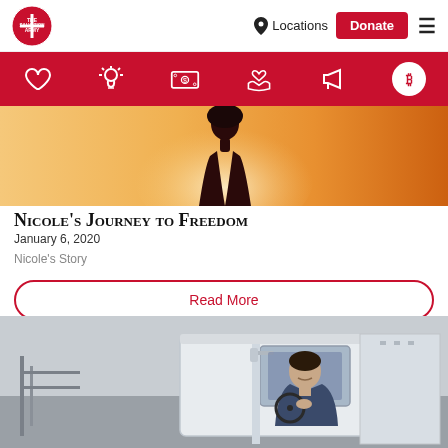[Figure (screenshot): Salvation Army website navigation bar with logo, Locations link, Donate button, and hamburger menu]
[Figure (infographic): Red icon bar with white outline icons: heart, lightbulb, dollar bill, hands with heart, megaphone, and bitcoin circle]
[Figure (photo): Warm orange/golden sunset background with silhouette of a person]
Nicole's Journey to Freedom
January 6, 2020
Nicole's Story
Read More
[Figure (photo): Man sitting in the cab of a white semi-truck, smiling at the camera, with industrial background]